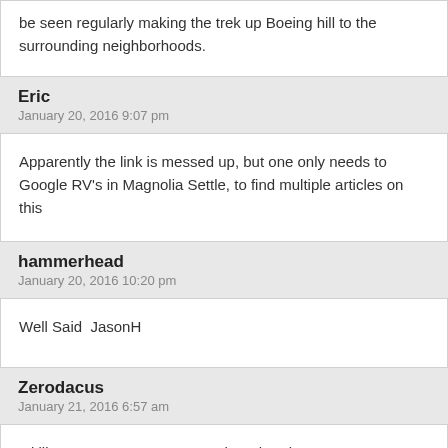be seen regularly making the trek up Boeing hill to the surrounding neighborhoods.
Eric
January 20, 2016 9:07 pm
Apparently the link is messed up, but one only needs to Google RV's in Magnolia Settle, to find multiple articles on this
hammerhead
January 20, 2016 10:20 pm
Well Said  JasonH
Zerodacus
January 21, 2016 6:57 am
I'd like to see a response to Rob and Andrew Wests posts, one thing I also assume, and have never seen the stats for. MIWS, you seem to be the only poster with first hand experience, so, during your six months at NV, in your experience, what were the percentages?, how